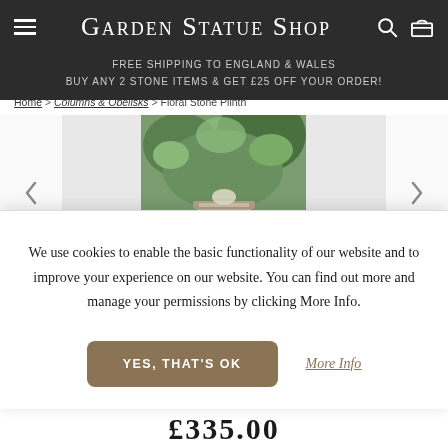Garden Statue Shop — FREE SHIPPING TO ENGLAND & WALES — BUY ANY 2 STONE ITEMS & GET £25 OFF YOUR ORDER!
Home > Columns & Obelisks > Floral Stone Plinth
[Figure (photo): Product photo of a floral stone plinth in a garden setting with green plants surrounding it]
We use cookies to enable the basic functionality of our website and to improve your experience on our website. You can find out more and manage your permissions by clicking More Info.
YES, THAT'S OK
More Info